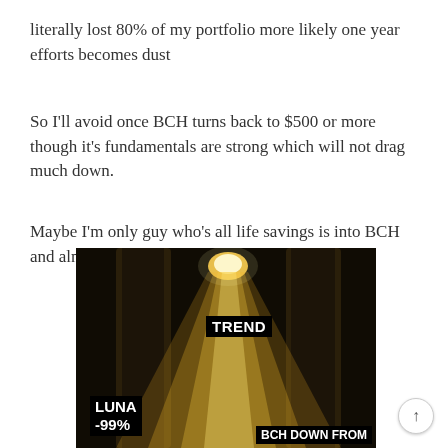literally lost 80% of my portfolio more likely one year efforts becomes dust
So I'll avoid once BCH turns back to $500 or more though it's fundamentals are strong which will not drag much down.
Maybe I'm only guy who's all life savings is into BCH and almost lost all of life savings
[Figure (illustration): A meme image showing a dark background with a bright beam of light (like a streetlight or torch). Text labels on the image read: TREND (label in the beam of light), LUNA -99% (bottom left), BCH DOWN FROM (bottom right).]